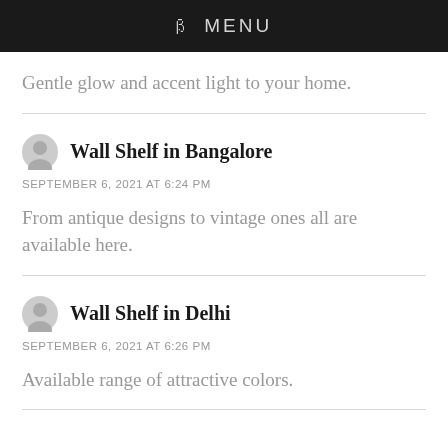ꞵ MENU
Gentle glow and accent light to your home.
Wall Shelf in Bangalore
SEPTEMBER 6, 2021 AT 6:24 PM
From antique designs to vintage ones all are available here.
Wall Shelf in Delhi
SEPTEMBER 6, 2021 AT 6:26 PM
Available range of attractive colors.